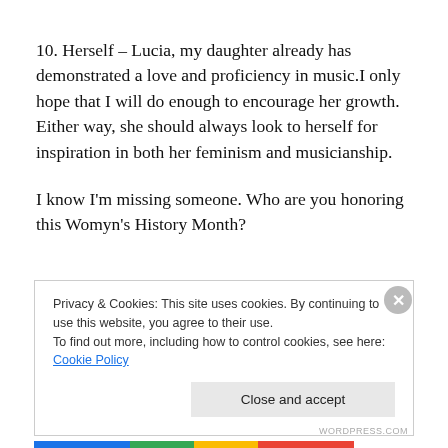10. Herself – Lucia, my daughter already has demonstrated a love and proficiency in music.I only hope that I will do enough to encourage her growth. Either way, she should always look to herself for inspiration in both her feminism and musicianship.
I know I'm missing someone. Who are you honoring this Womyn's History Month?
Privacy & Cookies: This site uses cookies. By continuing to use this website, you agree to their use.
To find out more, including how to control cookies, see here: Cookie Policy